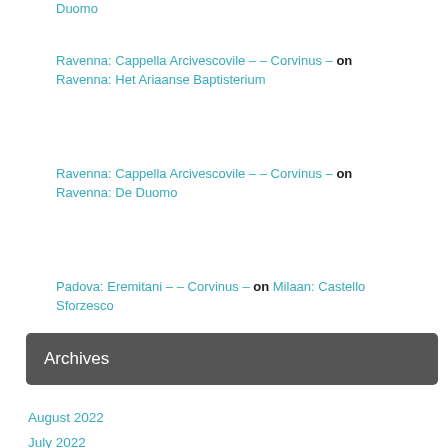Duomo
Ravenna: Cappella Arcivescovile – – Corvinus – on Ravenna: Het Ariaanse Baptisterium
Ravenna: Cappella Arcivescovile – – Corvinus – on Ravenna: De Duomo
Padova: Eremitani – – Corvinus – on Milaan: Castello Sforzesco
Archives
August 2022
July 2022
June 2022
May 2022
April 2022
March 2022